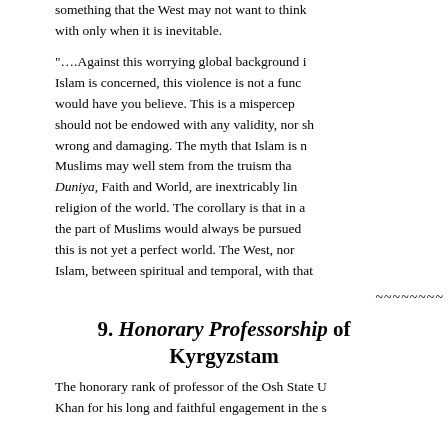something that the West may not want to think about but can deal with only when it is inevitable.
"….Against this worrying global background i Islam is concerned, this violence is not a func would have you believe. This is a mispercep should not be endowed with any validity, nor sh wrong and damaging. The myth that Islam is n Muslims may well stem from the truism tha Duniya, Faith and World, are inextricably lin religion of the world. The corollary is that in a the part of Muslims would always be pursued this is not yet a perfect world. The West, nor Islam, between spiritual and temporal, with that
~~~~~~~~~~~
9. Honorary Professorship of Kyrgyzstam
The honorary rank of professor of the Osh State U Khan for his long and faithful engagement in the s